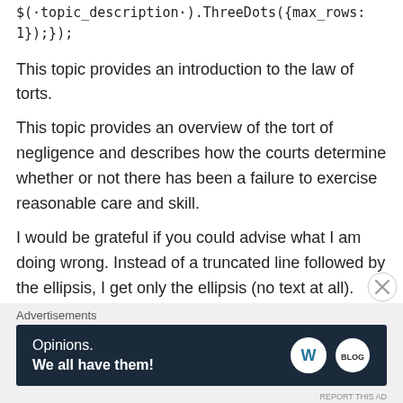$(·topic_description·).ThreeDots({max_rows: 1});});
This topic provides an introduction to the law of torts.
This topic provides an overview of the tort of negligence and describes how the courts determine whether or not there has been a failure to exercise reasonable care and skill.
I would be grateful if you could advise what I am doing wrong. Instead of a truncated line followed by the ellipsis, I get only the ellipsis (no text at all).
Advertisements
Opinions. We all have them!